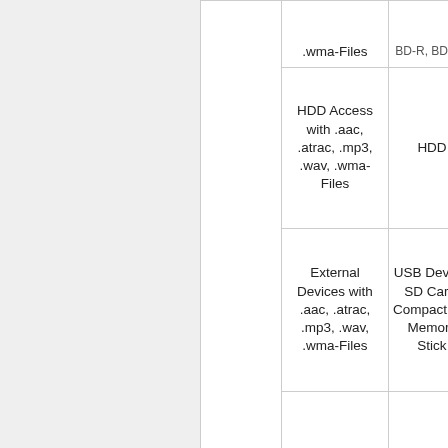| Content | Access Type | Device |
| --- | --- | --- |
| Content | .mp3, .wav, .wma-Files | BD-R, BD-RE |
| Content | HDD Access with .aac, .atrac, .mp3, .wav, .wma-Files | HDD |
| Content | External Devices with .aac, .atrac, .mp3, .wav, .wma-Files | USB Device, SD Card, CompactFlash, Memory Stick |
|  |  |  |